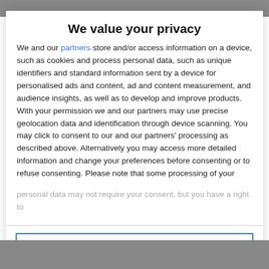[Figure (screenshot): Partially visible webpage background image at top]
We value your privacy
We and our partners store and/or access information on a device, such as cookies and process personal data, such as unique identifiers and standard information sent by a device for personalised ads and content, ad and content measurement, and audience insights, as well as to develop and improve products. With your permission we and our partners may use precise geolocation data and identification through device scanning. You may click to consent to our and our partners' processing as described above. Alternatively you may access more detailed information and change your preferences before consenting or to refuse consenting. Please note that some processing of your personal data may not require your consent, but you have a right to
AGREE
MORE OPTIONS
[Figure (photo): Partially visible webpage background image at bottom]